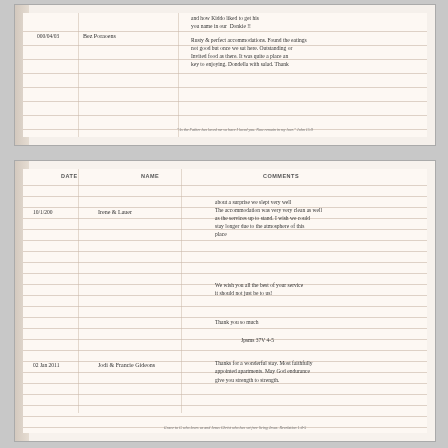[Figure (photo): Top photo of handwritten guest book / ledger page showing entries. Date column shows '000/04/03', Name column shows 'Bez Poraoens', Comments column contains cursive handwriting about accommodations and cleanliness. Footer quote visible at bottom of page.]
[Figure (photo): Bottom photo of handwritten guest book / ledger page. Column headers: DATE, NAME, COMMENTS. Entry 1: Date '10/1/200', Name 'Irene & Lauer', Comments about a wonderful surprise stay, very clean accommodation, services, atmosphere. Includes 'We wish you all the best of your service...' and 'Thank you so much' with 'Jpsms 37V 4-5'. Entry 2: Date '02 Jan 2011', Name 'Jodi & Francie Gideons', Comments about wonderful stay, beautifully appointed apartments, God give you strength. Footer quote at bottom.]